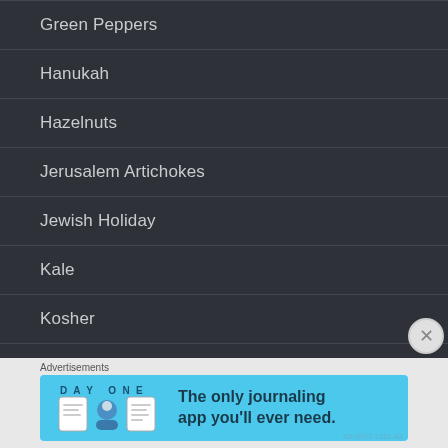Green Peppers
Hanukah
Hazelnuts
Jerusalem Artichokes
Jewish Holiday
Kale
Kosher
Leeks
Lentils
Advertisements
[Figure (screenshot): Day One journaling app advertisement banner with light blue background, app icons, and text 'The only journaling app you'll ever need.']